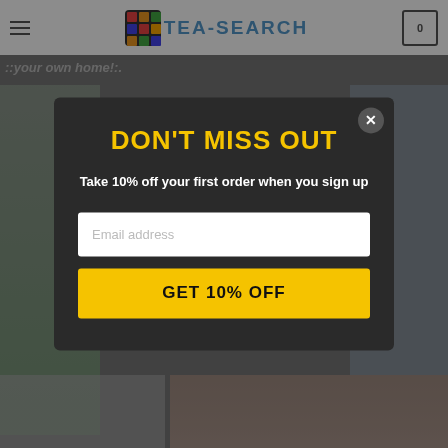[Figure (screenshot): E-commerce website screenshot showing Tea-Search logo in header with hamburger menu on left, cart icon with 0 on right, and background content showing cats with dimmed overlay. A modal popup is displayed in the center.]
DON'T MISS OUT
Take 10% off your first order when you sign up
Email address
GET 10% OFF